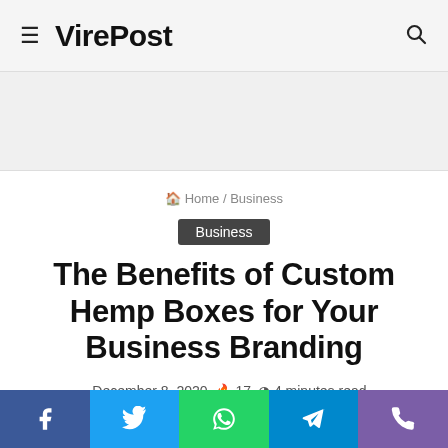VirePost
Home / Business
Business
The Benefits of Custom Hemp Boxes for Your Business Branding
December 8, 2020  17  4 minutes read